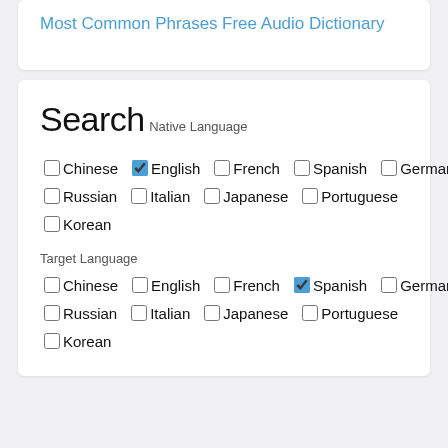Most Common Phrases
Free Audio Dictionary
Search
Native Language
Chinese (unchecked), English (checked), French (unchecked), Spanish (unchecked), German (unchecked), Russian (unchecked), Italian (unchecked), Japanese (unchecked), Portuguese (unchecked), Korean (unchecked)
Target Language
Chinese (unchecked), English (unchecked), French (unchecked), Spanish (checked), German (unchecked), Russian (unchecked), Italian (unchecked), Japanese (unchecked), Portuguese (unchecked), Korean (unchecked)